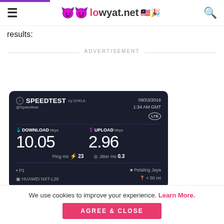lowyat.net
results:
ADVERTISEMENT
[Figure (screenshot): Speedtest by Ookla result card showing Download: 10.05 Mbps, Upload: 2.96 Mbps, Ping: 23ms, Jitter: 0.3ms, date 09/23/2016 1:34 AM GMT, LTE, @Speedtest, P1, HUAWEI NXT-L29, Petaling Jaya, < 50 mi]
We use cookies to improve your experience. Learn More.
AGREE & CLOSE